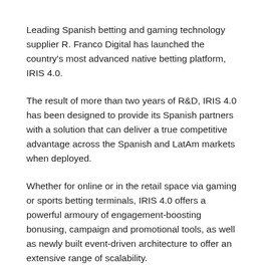Leading Spanish betting and gaming technology supplier R. Franco Digital has launched the country's most advanced native betting platform, IRIS 4.0.
The result of more than two years of R&D, IRIS 4.0 has been designed to provide its Spanish partners with a solution that can deliver a true competitive advantage across the Spanish and LatAm markets when deployed.
Whether for online or in the retail space via gaming or sports betting terminals, IRIS 4.0 offers a powerful armoury of engagement-boosting bonusing, campaign and promotional tools, as well as newly built event-driven architecture to offer an extensive range of scalability.